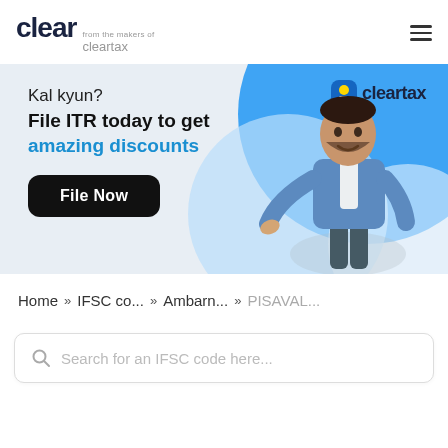clear from the makers of cleartax
[Figure (infographic): ClearTax promotional banner with text 'Kal kyun? File ITR today to get amazing discounts' and a 'File Now' button, with a person in a blue suit gesturing and ClearTax logo]
Home >> IFSC co... >> Ambarn... >> PISAVAL...
Search for an IFSC code here...